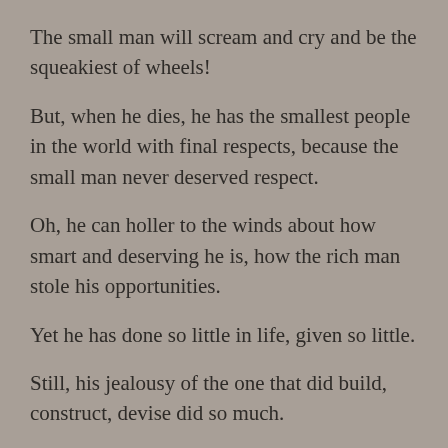The small man will scream and cry and be the squeakiest of wheels!
But, when he dies, he has the smallest people in the world with final respects, because the small man never deserved respect.
Oh, he can holler to the winds about how smart and deserving he is, how the rich man stole his opportunities.
Yet he has done so little in life, given so little.
Still, his jealousy of the one that did build, construct, devise did so much.
Timmy,